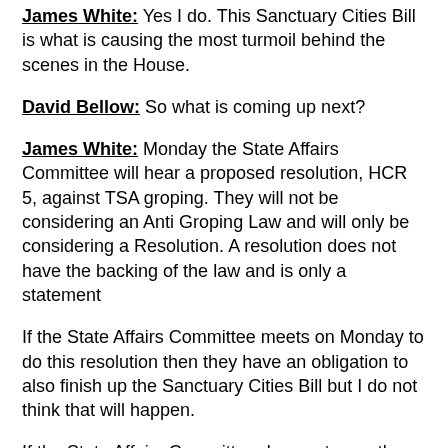James White: Yes I do. This Sanctuary Cities Bill is what is causing the most turmoil behind the scenes in the House.
David Bellow: So what is coming up next?
James White: Monday the State Affairs Committee will hear a proposed resolution, HCR 5, against TSA groping. They will not be considering an Anti Groping Law and will only be considering a Resolution. A resolution does not have the backing of the law and is only a statement
If the State Affairs Committee meets on Monday to do this resolution then they have an obligation to also finish up the Sanctuary Cities Bill but I do not think that will happen.
If the State Affairs Committee does not pass the Sanctuary Cities Bill then a possible Sanctuary Cities Amendment could be tagged onto SB 1 and would be an up or down vote with no discussion.
All of this boils down to the members of the State Affairs Committee. They are hand picked by and will follow the direction of the Speaker of the House. This is one of the